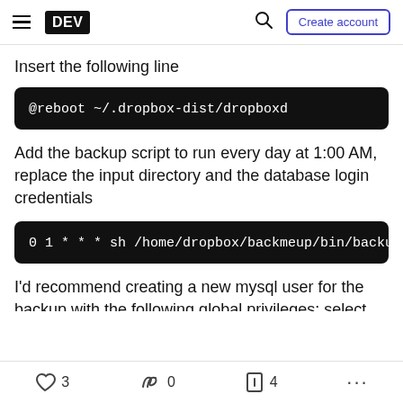DEV | Search | Create account
Insert the following line
@reboot ~/.dropbox-dist/dropboxd
Add the backup script to run every day at 1:00 AM, replace the input directory and the database login credentials
0 1 * * * sh /home/dropbox/backmeup/bin/backup.
I'd recommend creating a new mysql user for the backup with the following global privileges: select, references, create view, show view, execute, lock
3  0  4  ...